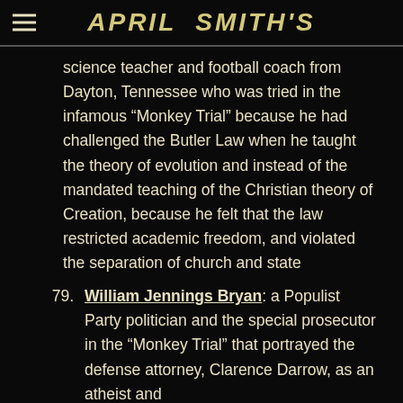APRIL SMITH'S
science teacher and football coach from Dayton, Tennessee who was tried in the infamous “Monkey Trial” because he had challenged the Butler Law when he taught the theory of evolution and instead of the mandated teaching of the Christian theory of Creation, because he felt that the law restricted academic freedom, and violated the separation of church and state
79. William Jennings Bryan: a Populist Party politician and the special prosecutor in the “Monkey Trial” that portrayed the defense attorney, Clarence Darrow, as an atheist and